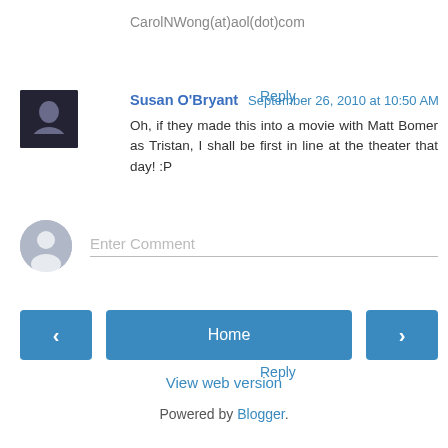CarolNWong(at)aol(dot)com
Reply
Susan O'Bryant  September 26, 2010 at 10:50 AM
Oh, if they made this into a movie with Matt Bomer as Tristan, I shall be first in line at the theater that day! :P
Reply
Enter Comment
Home
View web version
Powered by Blogger.